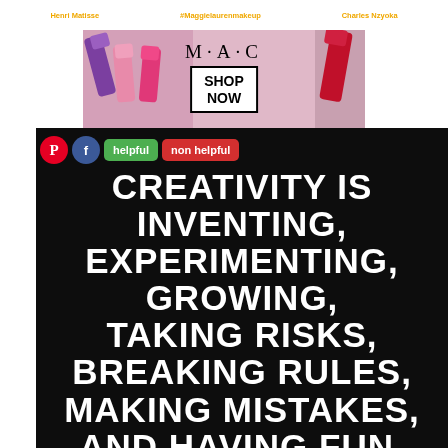Henri Matisse | #Maggielaurenmakeup | Charles Nzyoka
[Figure (photo): MAC cosmetics advertisement banner showing lipsticks on left and right with MAC logo and SHOP NOW button in center]
[Figure (infographic): Black background motivational quote image reading: CREATIVITY IS INVENTING, EXPERIMENTING, GROWING, TAKING RISKS, BREAKING RULES, MAKING MISTAKES, AND HAVING FUN with Pinterest, Facebook, helpful and non helpful social sharing buttons overlaid at top left]